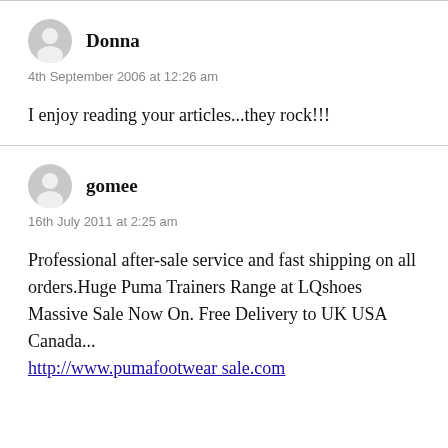Donna
4th September 2006 at 12:26 am
I enjoy reading your articles...they rock!!!
gomee
16th July 2011 at 2:25 am
Professional after-sale service and fast shipping on all orders.Huge Puma Trainers Range at LQshoes Massive Sale Now On. Free Delivery to UK USA Canada...
http://www.pumafootwear sale.com